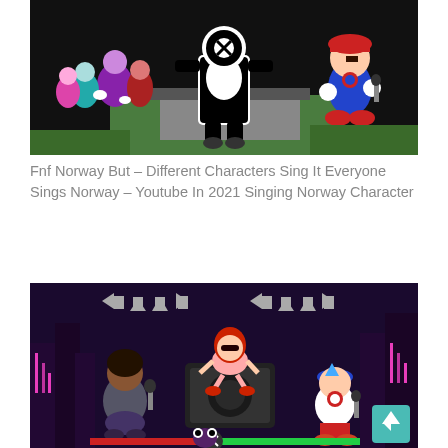[Figure (illustration): Colorful cartoon game screenshot from Friday Night Funkin showing multiple animated characters including a large black and white robot/character with an X on its face in the center, various characters on the left side, and a boy in red and blue on the right, on a green and black stage background.]
Fnf Norway But – Different Characters Sing It Everyone Sings Norway – Youtube In 2021 Singing Norway Character
[Figure (screenshot): Friday Night Funkin game screenshot with purple/dark city background, showing arrow key indicators at top, a girl with red hair sitting on a speaker, a dark-skinned girl with microphone on left, and the main character (Boyfriend) in red and blue with microphone on right. A teal scroll-to-top button is visible in bottom right corner.]